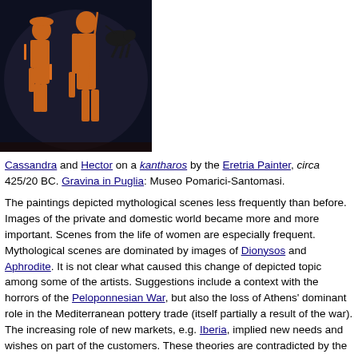[Figure (photo): Ancient Greek red-figure pottery painting showing Cassandra and Hector on a kantharos, circa 425/20 BC. Orange figures on dark background depicting two human figures and a feline animal.]
Cassandra and Hector on a kantharos by the Eretria Painter, circa 425/20 BC. Gravina in Puglia: Museo Pomarici-Santomasi.
The paintings depicted mythological scenes less frequently than before. Images of the private and domestic world became more and more important. Scenes from the life of women are especially frequent. Mythological scenes are dominated by images of Dionysos and Aphrodite. It is not clear what caused this change of depicted topic among some of the artists. Suggestions include a context with the horrors of the Peloponnesian War, but also the loss of Athens' dominant role in the Mediterranean pottery trade (itself partially a result of the war). The increasing role of new markets, e.g. Iberia, implied new needs and wishes on part of the customers. These theories are contradicted by the fact that some artists maintained the earlier style. Some, e.g. the Eretria Painter,